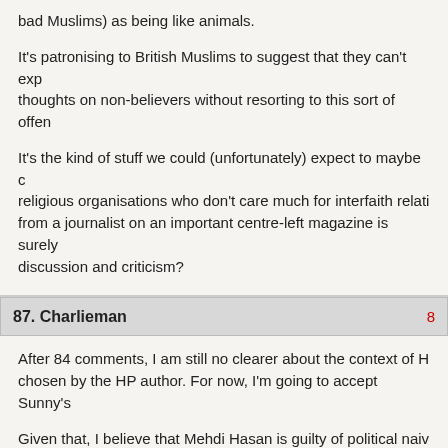bad Muslims) as being like animals.

It's patronising to British Muslims to suggest that they can't express their thoughts on non-believers without resorting to this sort of offen...

It's the kind of stuff we could (unfortunately) expect to maybe come from religious organisations who don't care much for interfaith relati... from a journalist on an important centre-left magazine is surely... discussion and criticism?
87. Charlieman
After 84 comments, I am still no clearer about the context of H... chosen by the HP author. For now, I'm going to accept Sunny's...

Given that, I believe that Mehdi Hasan is guilty of political naiv... Nick Griffin in a political speech, I would do so in a calm, mode... myself from the hatred in the words. Unless I had a track recor... wouldn't emphasise the quotation in any way. Flatness of deliv... emphasis anyway.